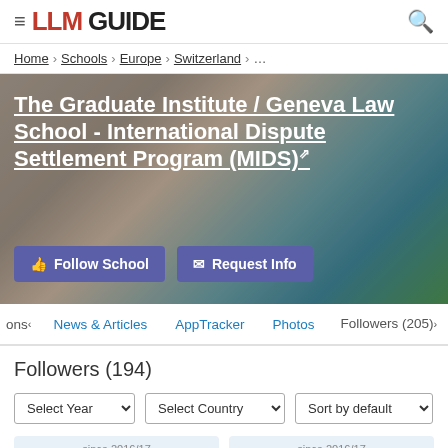≡ LLM GUIDE 🔍
Home › Schools › Europe › Switzerland › …
The Graduate Institute / Geneva Law School - International Dispute Settlement Program (MIDS) ↗
👍 Follow School   ✉ Request Info
ons‹   News & Articles   AppTracker   Photos   Followers (205)›
Followers (194)
Select Year ▾   Select Country ▾   Sort by default ▾
since 2016/17   since 2016/17